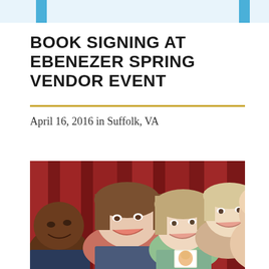BOOK SIGNING AT EBENEZER SPRING VENDOR EVENT
April 16, 2016 in Suffolk, VA
[Figure (photo): Group selfie photo of five people smiling in front of a red curtain background. One person is holding what appears to be a children's book.]